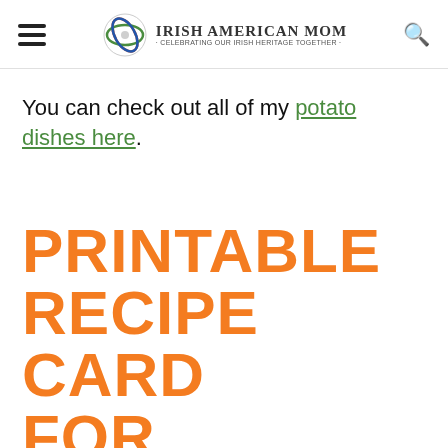Irish American Mom - Celebrating Our Irish Heritage Together
You can check out all of my potato dishes here.
PRINTABLE RECIPE CARD FOR GRILLED FOIL PACKET